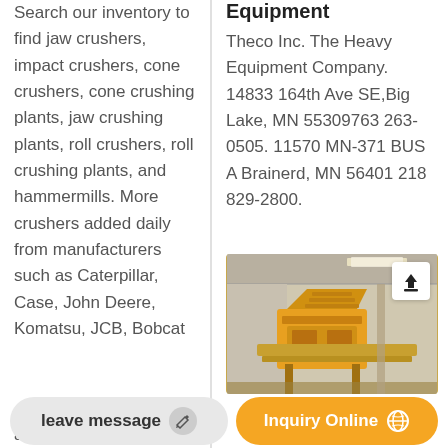Search our inventory to find jaw crushers, impact crushers, cone crushers, cone crushing plants, jaw crushing plants, roll crushers, roll crushing plants, and hammermills. More crushers added daily from manufacturers such as Caterpillar, Case, John Deere, Komatsu, JCB, Bobcat account and save your
Equipment
Theco Inc. The Heavy Equipment Company. 14833 164th Ave SE,Big Lake, MN 55309763 263-0505. 11570 MN-371 BUS A Brainerd, MN 56401 218 829-2800.
[Figure (photo): Photo of heavy yellow construction/crushing equipment inside an industrial building]
leave message
Inquiry Online